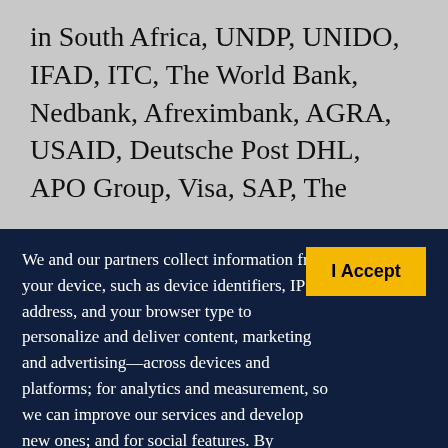in South Africa, UNDP, UNIDO, IFAD, ITC, The World Bank, Nedbank, Afreximbank, AGRA, USAID, Deutsche Post DHL, APO Group, Visa, SAP, The
We and our partners collect information from your device, such as device identifiers, IP address, and your browser type to personalize and deliver content, marketing and advertising—across devices and platforms; for analytics and measurement, so we can improve our services and develop new ones; and for social features. By clicking “I accept”, you consent to our use of these Cookies. Visit our Privacy Policy to learn more.
I Accept
YOUR USE OF THIS SITE SIGNIFIES YOUR AGREEMENT TO THIS PRIVACY POLICY.